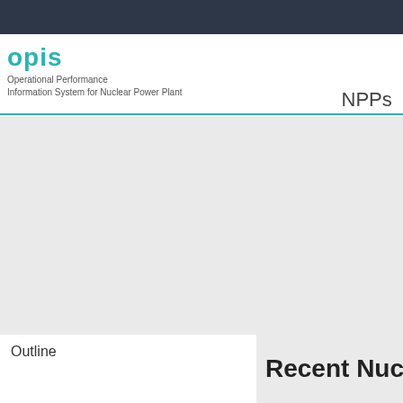opis — Operational Performance Information System for Nuclear Power Plant
NPPs
NEED
Provides incidents system and pla
Outline
Recent Nuc